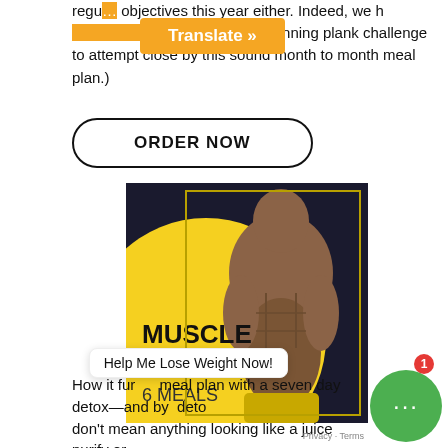regu... objectives this year either. Indeed, we h... uscle solutely stunning plank challenge to attempt close by this sound month to month meal plan.)
[Figure (other): Orange 'Translate »' browser button overlay]
ORDER NOW
[Figure (illustration): Muscle Gain 6 Meals promotional image: muscular man with yellow circle background, text 'MUSCLE GAIN 6 MEALS']
How it fur... meal plan with a seven day detox—and by detox don't mean anything looking like a juice purify or
[Figure (other): Green chat bubble widget with '...' icon and red badge showing '1', and 'Help Me Lose Weight Now!' toast message]
Privacy · Terms